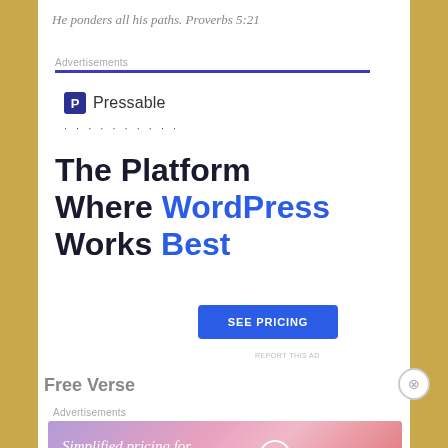He ponders all his paths. Proverbs 5:21
Advertisements
[Figure (screenshot): Pressable advertisement: logo with 'P' icon and text 'Pressable', dotted line, headline 'The Platform Where WordPress Works Best', blue 'SEE PRICING' button, 'REPORT THIS AD' link]
REPORT THIS AD
Free Verse
Advertisements
[Figure (screenshot): WordPress.com banner ad with gradient pink/purple background: 'Simplified pricing for everything you need.' with WordPress.com logo]